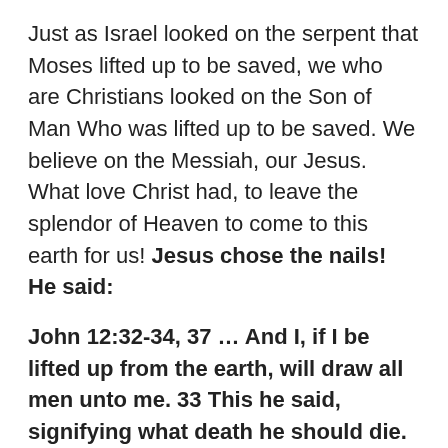Just as Israel looked on the serpent that Moses lifted up to be saved, we who are Christians looked on the Son of Man Who was lifted up to be saved. We believe on the Messiah, our Jesus. What love Christ had, to leave the splendor of Heaven to come to this earth for us! Jesus chose the nails! He said:
John 12:32-34, 37 … And I, if I be lifted up from the earth, will draw all men unto me. 33 This he said, signifying what death he should die. 34 The people answered him, We have heard out of the law that Christ abideth for ever: and how sayest thou, The Son of man must be lifted up? who is this Son of man? … 37 But though he had done so many miracles before them, yet they believed not on him:
Salvation comes to us when we look at Jesus, high and